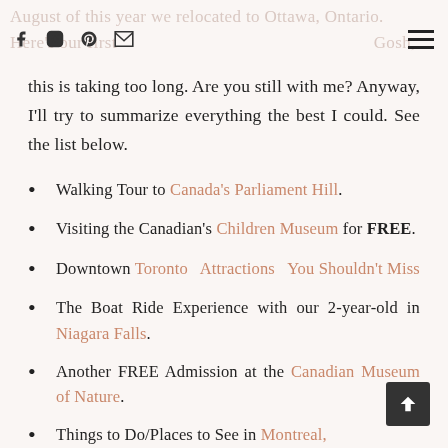August of this year we relocated to Ottawa, Ontario. Here's our first [experience/adventure] in the city. Gosh,
this is taking too long. Are you still with me? Anyway, I'll try to summarize everything the best I could. See the list below.
Walking Tour to Canada's Parliament Hill.
Visiting the Canadian's Children Museum for FREE.
Downtown Toronto Attractions You Shouldn't Miss
The Boat Ride Experience with our 2-year-old in Niagara Falls.
Another FREE Admission at the Canadian Museum of Nature.
Things to Do/Places to See in Montreal,